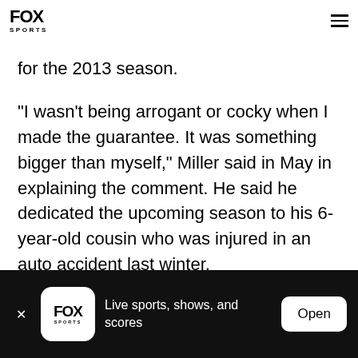FOX SPORTS
for the 2013 season.
"I wasn't being arrogant or cocky when I made the guarantee. It was something bigger than myself," Miller said in May in explaining the comment. He said he dedicated the upcoming season to his 6-year-old cousin who was injured in an auto accident last winter.
Live sports, shows, and scores | Open